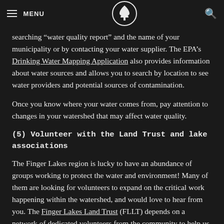MENU [logo] [search]
searching “water quality report” and the name of your municipality or by contacting your water supplier. The EPA’s Drinking Water Mapping Application also provides information about water sources and allows you to search by location to see water providers and potential sources of contamination.
Once you know where your water comes from, pay attention to changes in your watershed that may affect water quality.
(5) Volunteer with the Land Trust and lake associations
The Finger Lakes region is lucky to have an abundance of groups working to protect the water and environment! Many of them are looking for volunteers to expand on the critical work happening within the watershed, and would love to hear from you. The Finger Lakes Land Trust (FLLT) depends on a network of dedicated volunteers from the community to help us accomplish good things at our network of conserved lands.